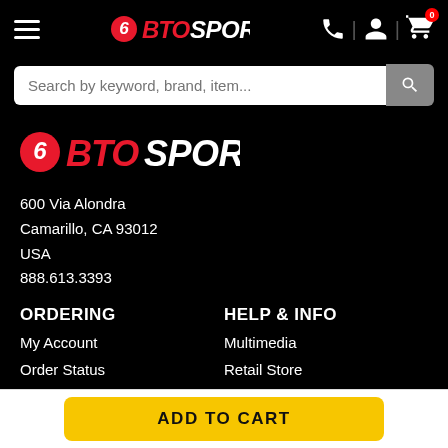BTO Sports navigation bar with hamburger menu, logo, phone, account, and cart icons
Search by keyword, brand, item...
[Figure (logo): BTO Sports logo - white and red text on black background]
600 Via Alondra
Camarillo, CA 93012
USA
888.613.3393
ORDERING
HELP & INFO
My Account
Multimedia
Order Status
Retail Store
Shipping
Buy Gift Cards
Terms & Conditions
Gift Card Balance
Returns and Exchanges
International
Size Charts
BTO Sitemap
ADD TO CART